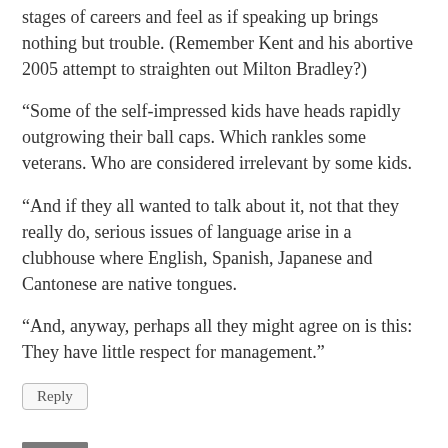stages of careers and feel as if speaking up brings nothing but trouble. (Remember Kent and his abortive 2005 attempt to straighten out Milton Bradley?)
“Some of the self-impressed kids have heads rapidly outgrowing their ball caps. Which rankles some veterans. Who are considered irrelevant by some kids.
“And if they all wanted to talk about it, not that they really do, serious issues of language arise in a clubhouse where English, Spanish, Japanese and Cantonese are native tongues.
“And, anyway, perhaps all they might agree on is this: They have little respect for management.”
Reply
SEPTEMBER 17, 2007 - 3:19 PM
jjriley22@aol.com
please, i implore everyone to read the “vets leading the stretch run piece” Its complete garbage. For the gazillionth time, WITHOUT THE YOUNG